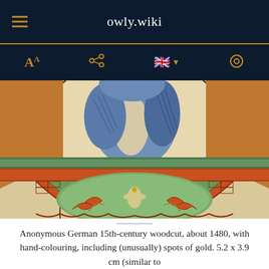owly.wiki
[Figure (screenshot): Mobile website toolbar with hamburger menu, font size icon, share icon, UK flag with dropdown arrow, and search icon on dark navy background with orange accent bar]
[Figure (photo): Anonymous German 15th-century woodcut detail showing a hand-coloured owl figure perched above decorative heraldic border with fleur-de-lis motifs in green, orange/red, and blue tones]
Anonymous German 15th-century woodcut, about 1480, with hand-colouring, including (unusually) spots of gold. 5.2 x 3.9 cm (similar to